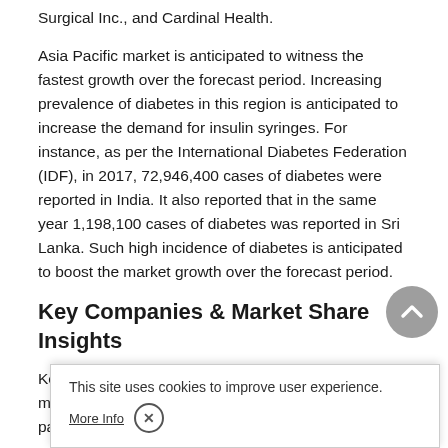Surgical Inc., and Cardinal Health.
Asia Pacific market is anticipated to witness the fastest growth over the forecast period. Increasing prevalence of diabetes in this region is anticipated to increase the demand for insulin syringes. For instance, as per the International Diabetes Federation (IDF), in 2017, 72,946,400 cases of diabetes were reported in India. It also reported that in the same year 1,198,100 cases of diabetes was reported in Sri Lanka. Such high incidence of diabetes is anticipated to boost the market growth over the forecast period.
Key Companies & Market Share Insights
Key players are adopting various strategies such as merger and acquisitions, product launch, and partnerships to strengthen their foothold in the market. For instance, in October 2019, BD launched a disposable autoinjector, which pre-fillable syringe in one integrated system. Some of the